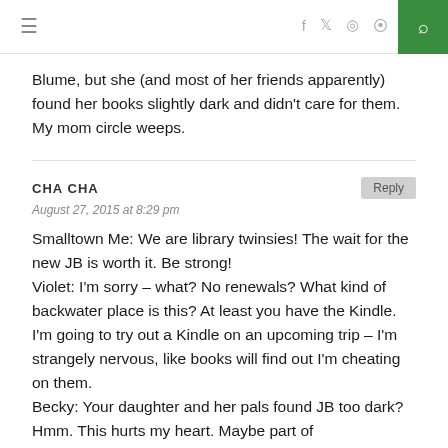≡  f  🐦  ◉  ))) 🔍
Blume, but she (and most of her friends apparently) found her books slightly dark and didn't care for them. My mom circle weeps.
CHA CHA
August 27, 2015 at 8:29 pm
Smalltown Me: We are library twinsies! The wait for the new JB is worth it. Be strong!
Violet: I'm sorry – what? No renewals? What kind of backwater place is this? At least you have the Kindle. I'm going to try out a Kindle on an upcoming trip – I'm strangely nervous, like books will find out I'm cheating on them.
Becky: Your daughter and her pals found JB too dark? Hmm. This hurts my heart. Maybe part of